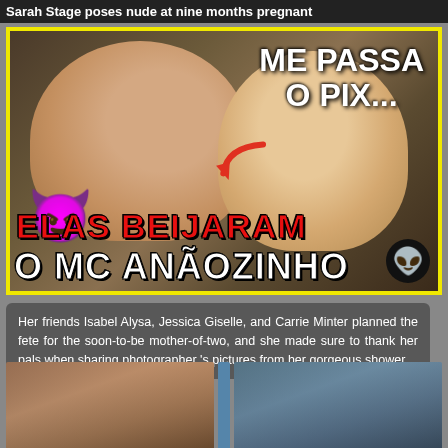Sarah Stage poses nude at nine months pregnant
[Figure (screenshot): Video thumbnail showing two young women at a party. Text overlay in Portuguese: 'ME PASSA O PIX...' at top right with red arrow, devil emoji on left side, 'ELAS BEIJARAM' in red text and 'O MC ANÃOZINHO' in white text at bottom. Yellow border frame. Alien emoji badge bottom right.]
Her friends Isabel Alysa, Jessica Giselle, and Carrie Minter planned the fete for the soon-to-be mother-of-two, and she made sure to thank her pals when sharing photographer 's pictures from her gorgeous shower.
[Figure (photo): Two partial photos at the bottom of the page showing women, cut off at the bottom edge of the page.]